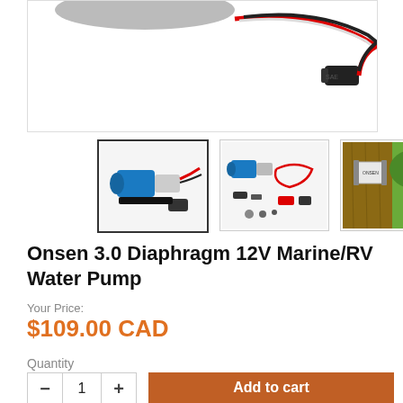[Figure (photo): Main product image showing a diaphragm water pump with red and black wires and a connector, on white background.]
[Figure (photo): Thumbnail 1: Blue diaphragm water pump unit with red wire and connector on white background.]
[Figure (photo): Thumbnail 2: Water pump kit with accessories including connectors and wiring on white background.]
[Figure (photo): Thumbnail 3: Water pump mounted on a wooden post/fence outdoors.]
Onsen 3.0 Diaphragm 12V Marine/RV Water Pump
Your Price:
$109.00 CAD
Quantity
— 1 +
Add to cart